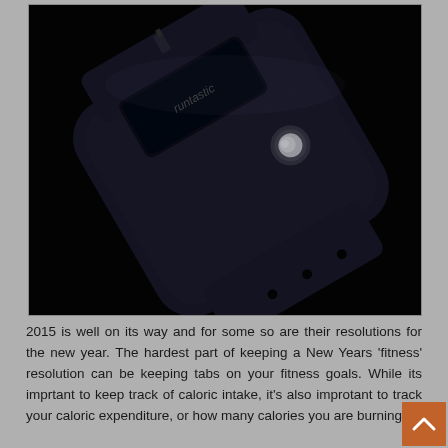[Figure (photo): Close-up photograph of a black Runtastic fitness tracker/activity band against a dark background. The band is shown at an angle, with a small screen/display at the top and a circular button/sensor visible on the band.]
2015 is well on its way and for some so are their resolutions for the new year. The hardest part of keeping a New Years 'fitness' resolution can be keeping tabs on your fitness goals. While its imprtant to keep track of caloric intake, it's also improtant to track your caloric expenditure, or how many calories you are burning.